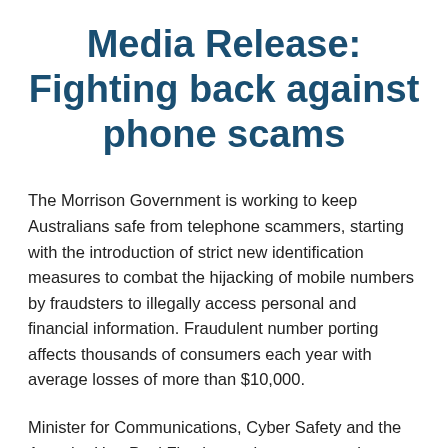Media Release: Fighting back against phone scams
The Morrison Government is working to keep Australians safe from telephone scammers, starting with the introduction of strict new identification measures to combat the hijacking of mobile numbers by fraudsters to illegally access personal and financial information. Fraudulent number porting affects thousands of consumers each year with average losses of more than $10,000.
Minister for Communications, Cyber Safety and the Arts, the Hon Paul Fletcher, today announced new telco regulations which mandate stronger industry-wide identity verification